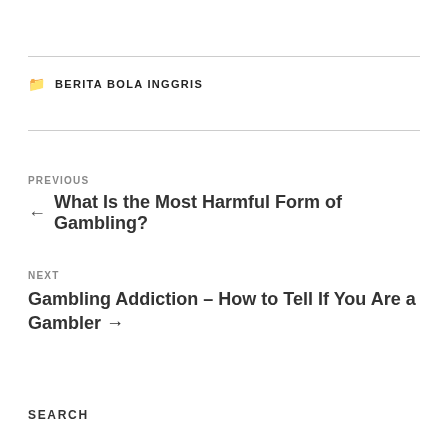BERITA BOLA INGGRIS
← What Is the Most Harmful Form of Gambling?
Gambling Addiction – How to Tell If You Are a Gambler →
SEARCH